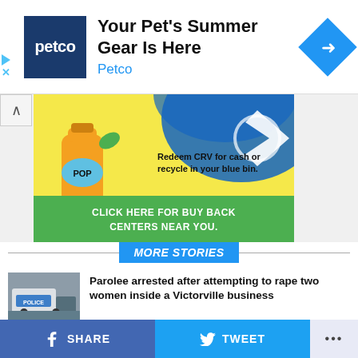[Figure (screenshot): Petco ad banner: blue Petco logo square, headline 'Your Pet's Summer Gear Is Here', subtext 'Petco', blue diamond arrow icon on right]
[Figure (screenshot): CRV recycling advertisement: colorful image with POP soda bottle, yellow background, text 'Redeem CRV for cash or recycle in your blue bin.' and green bar 'CLICK HERE FOR BUY BACK CENTERS NEAR YOU.']
MORE STORIES
[Figure (photo): Police car thumbnail image]
Parolee arrested after attempting to rape two women inside a Victorville business
[Figure (photo): Street scene thumbnail image]
Victorville woman finds burglars inside her home after leaving for several days
[Figure (photo): House thumbnail image]
Two homes in Adelanto burned down by an armed barricaded suspect
SHARE   TWEET   ...